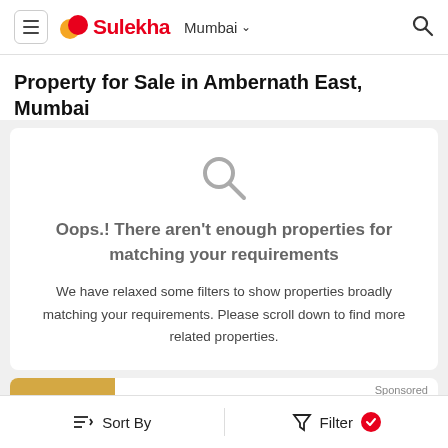Sulekha — Mumbai
Property for Sale in Ambernath East, Mumbai
as on Aug 25, 2022
[Figure (infographic): No results illustration with large search icon and message: Oops.! There aren't enough properties for matching your requirements. We have relaxed some filters to show properties broadly matching your requirements. Please scroll down to find more related properties.]
1 BHK Flat for Sale in Bhivpuri
Sort By   Filter